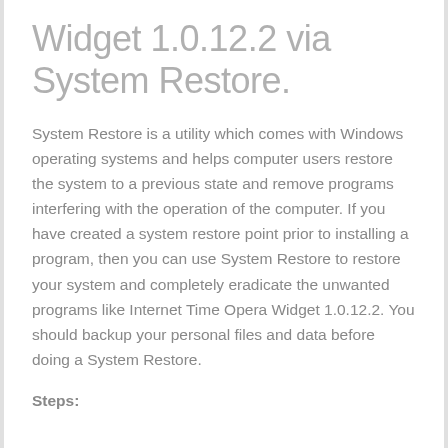Widget 1.0.12.2 via System Restore.
System Restore is a utility which comes with Windows operating systems and helps computer users restore the system to a previous state and remove programs interfering with the operation of the computer. If you have created a system restore point prior to installing a program, then you can use System Restore to restore your system and completely eradicate the unwanted programs like Internet Time Opera Widget 1.0.12.2. You should backup your personal files and data before doing a System Restore.
Steps: